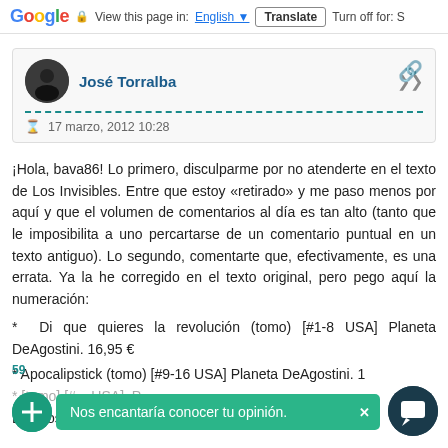Google | View this page in: English | Translate | Turn off for: S
José Torralba   17 marzo, 2012 10:28
¡Hola, bava86! Lo primero, disculparme por no atenderte en el texto de Los Invisibles. Entre que estoy «retirado» y me paso menos por aquí y que el volumen de comentarios al día es tan alto (tanto que le imposibilita a uno percartarse de un comentario puntual en un texto antiguo). Lo segundo, comentarte que, efectivamente, es una errata. Ya la he corregido en el texto original, pero pego aquí la numeración:
* Di que quieres la revolución (tomo) [#1-8 USA] Planeta DeAgostini. 16,95 €
* Apocalipstick (tomo) [#9-16 USA] Planeta DeAgostini. 1
* [tomo] [#... USA]  P... DeAgostini. 16,95 €